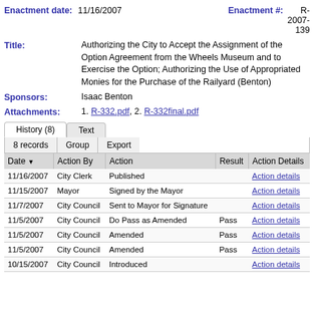Enactment date: 11/16/2007   Enactment #: R-2007-139
Title: Authorizing the City to Accept the Assignment of the Option Agreement from the Wheels Museum and to Exercise the Option; Authorizing the Use of Appropriated Monies for the Purchase of the Railyard (Benton)
Sponsors: Isaac Benton
Attachments: 1. R-332.pdf, 2. R-332final.pdf
| Date | Action By | Action | Result | Action Details |
| --- | --- | --- | --- | --- |
| 11/16/2007 | City Clerk | Published |  | Action details |
| 11/15/2007 | Mayor | Signed by the Mayor |  | Action details |
| 11/7/2007 | City Council | Sent to Mayor for Signature |  | Action details |
| 11/5/2007 | City Council | Do Pass as Amended | Pass | Action details |
| 11/5/2007 | City Council | Amended | Pass | Action details |
| 11/5/2007 | City Council | Amended | Pass | Action details |
| 10/15/2007 | City Council | Introduced |  | Action details |